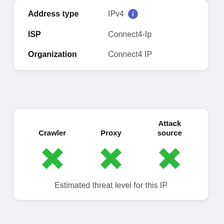| Field | Value |
| --- | --- |
| Address type | IPv4 |
| ISP | Connect4-Ip |
| Organization | Connect4 IP |
| Crawler | Proxy | Attack source |
| --- | --- | --- |
| ✗ | ✗ | ✗ |
Estimated threat level for this IP